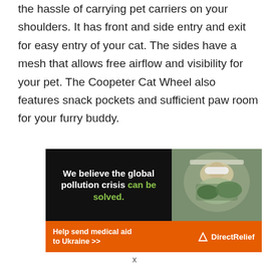the hassle of carrying pet carriers on your shoulders. It has front and side entry and exit for easy entry of your cat. The sides have a mesh that allows free airflow and visibility for your pet. The Coopeter Cat Wheel also features snack pockets and sufficient paw room for your furry buddy.
[Figure (infographic): Advertisement banner with black left half reading 'We believe the global pollution crisis can be solved.' (with 'can be solved.' in green), and right half showing a person in a white hard hat near green leaves. Bottom orange strip with text 'Help send medical aid to Ukraine >>' and Direct Relief logo/name.]
x